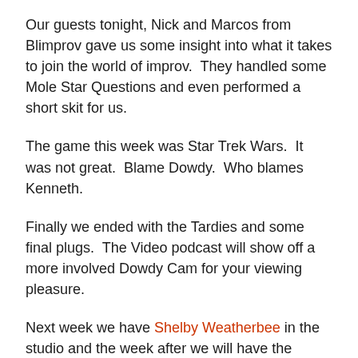Our guests tonight, Nick and Marcos from Blimprov gave us some insight into what it takes to join the world of improv.  They handled some Mole Star Questions and even performed a short skit for us.
The game this week was Star Trek Wars.  It was not great.  Blame Dowdy.  Who blames Kenneth.
Finally we ended with the Tardies and some final plugs.  The Video podcast will show off a more involved Dowdy Cam for your viewing pleasure.
Next week we have Shelby Weatherbee in the studio and the week after we will have the District 6 City Counsel candidates in the Longbox.FM Studios!
Click the play button at the bottom of the page to listen to